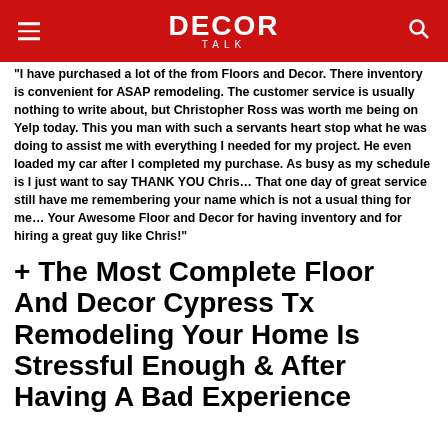DECOR TALK
"I have purchased a lot of the from Floors and Decor. There inventory is convenient for ASAP remodeling. The customer service is usually nothing to write about, but Christopher Ross was worth me being on Yelp today. This you man with such a servants heart stop what he was doing to assist me with everything I needed for my project. He even loaded my car after I completed my purchase. As busy as my schedule is I just want to say THANK YOU Chris... That one day of great service still have me remembering your name which is not a usual thing for me... Your Awesome Floor and Decor for having inventory and for hiring a great guy like Chris!"
+ The Most Complete Floor And Decor Cypress Tx Remodeling Your Home Is Stressful Enough & After Having A Bad Experience